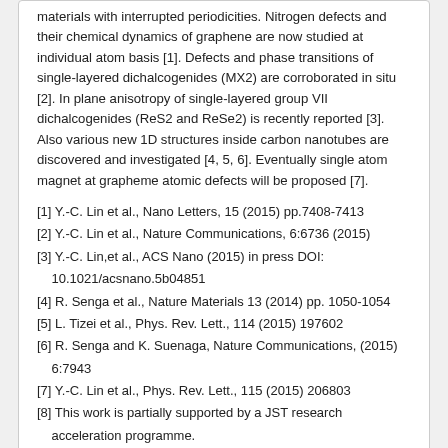materials with interrupted periodicities. Nitrogen defects and their chemical dynamics of graphene are now studied at individual atom basis [1]. Defects and phase transitions of single-layered dichalcogenides (MX2) are corroborated in situ [2]. In plane anisotropy of single-layered group VII dichalcogenides (ReS2 and ReSe2) is recently reported [3]. Also various new 1D structures inside carbon nanotubes are discovered and investigated [4, 5, 6]. Eventually single atom magnet at grapheme atomic defects will be proposed [7].
[1] Y.-C. Lin et al., Nano Letters, 15 (2015) pp.7408-7413
[2] Y.-C. Lin et al., Nature Communications, 6:6736 (2015)
[3] Y.-C. Lin,et al., ACS Nano (2015) in press DOI: 10.1021/acsnano.5b04851
[4] R. Senga et al., Nature Materials 13 (2014) pp. 1050-1054
[5] L. Tizei et al., Phys. Rev. Lett., 114 (2015) 197602
[6] R. Senga and K. Suenaga, Nature Communications, (2015) 6:7943
[7] Y.-C. Lin et al., Phys. Rev. Lett., 115 (2015) 206803
[8] This work is partially supported by a JST research acceleration programme.
PLENARY LECTURES - YUCOMAT 2016
Takuzo Aida, Stimuli-Responsive Smart Soft Materials